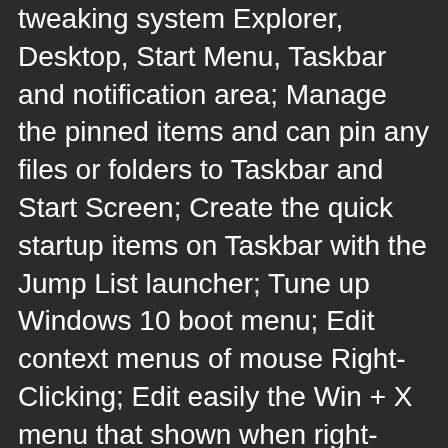tweaking system Explorer, Desktop, Start Menu, Taskbar and notification area; Manage the pinned items and can pin any files or folders to Taskbar and Start Screen; Create the quick startup items on Taskbar with the Jump List launcher; Tune up Windows 10 boot menu; Edit context menus of mouse Right-Clicking; Edit easily the Win + X menu that shown when right-click on Desktop bottom-left corner or Win + X keyboard shortcut; Create the shortcut that executed quick on the run dialog box. Visual Customizer can change system and file type icons, change the lock screen image automatically.
Security: Improve system security by tweaking system components, UAC, and login settings; Tune up System Restore options; Hide and restrict to access drives and programs; Encrypt/decrypt files, move system folders to safe locations and delete the files that exist install